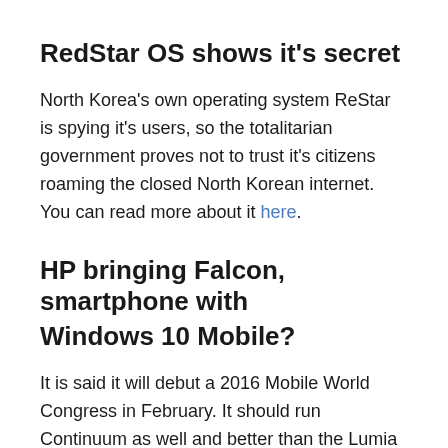RedStar OS shows it's secret
North Korea's own operating system ReStar is spying it's users, so the totalitarian government proves not to trust it's citizens roaming the closed North Korean internet. You can read more about it here.
HP bringing Falcon, smartphone with Windows 10 Mobile?
It is said it will debut a 2016 Mobile World Congress in February. It should run Continuum as well and better than the Lumia devices as it has a superior CPU. But beware it